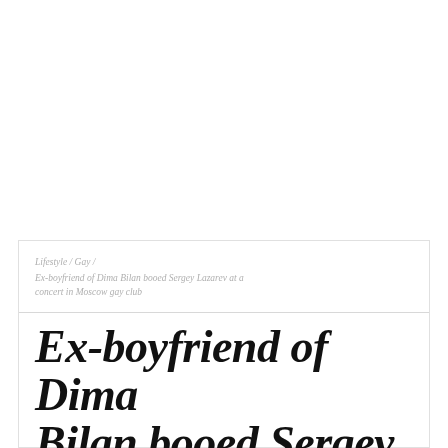Lifestyle / Gay / Ex-boyfriend of Dima Bilan booed Sergey Lazarev at a concert in Moscow gay club
Ex-boyfriend of Dima Bilan booed Sergey